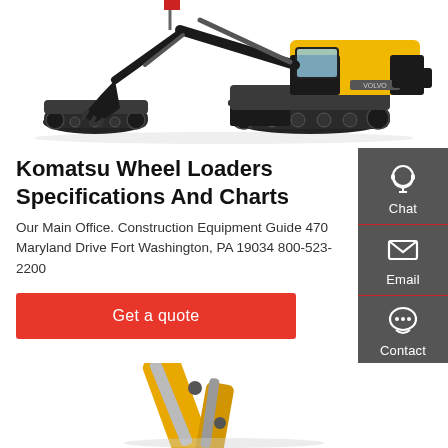[Figure (photo): Volvo compact excavator (mini excavator) shown in profile view on white background, with arm extended and bucket lowered, yellow and black color scheme]
Komatsu Wheel Loaders Specifications And Charts
Our Main Office. Construction Equipment Guide 470 Maryland Drive Fort Washington, PA 19034 800-523-2200
[Figure (illustration): Chat icon - headset/headphone silhouette in white on grey background, with label Chat]
[Figure (illustration): Email icon - envelope symbol in white on grey background, with label Email]
[Figure (illustration): Contact icon - speech bubble with dots in white on grey background, with label Contact]
[Figure (photo): Bottom portion of a yellow large excavator or construction equipment on white background, partially visible]
Get a quote